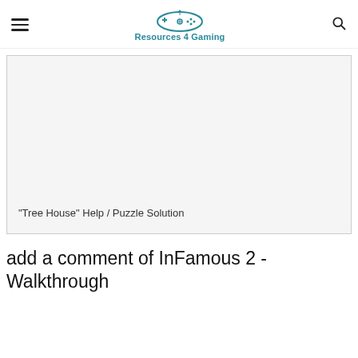Resources 4 Gaming
[Figure (screenshot): Embedded video/image area showing 'Tree House' Help / Puzzle Solution]
"Tree House" Help / Puzzle Solution
add a comment of InFamous 2 - Walkthrough